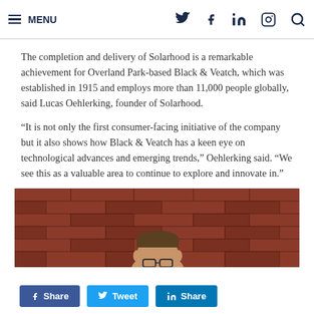MENU (navigation bar with social icons: Twitter, Facebook, LinkedIn, Instagram, Search)
The completion and delivery of Solarhood is a remarkable achievement for Overland Park-based Black & Veatch, which was established in 1915 and employs more than 11,000 people globally, said Lucas Oehlerking, founder of Solarhood.
“It is not only the first consumer-facing initiative of the company but it also shows how Black & Veatch has a keen eye on technological advances and emerging trends,” Oehlerking said. “We see this as a valuable area to continue to explore and innovate in.”
[Figure (photo): Partial photo of a man in front of a red brick wall, only the top portion of his head visible]
Share  Tweet  Share (social share buttons for Facebook, Twitter, LinkedIn)